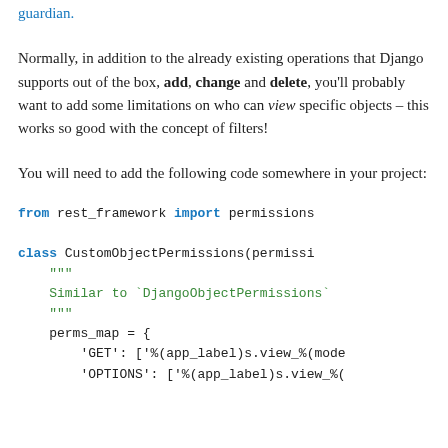guardian.
Normally, in addition to the already existing operations that Django supports out of the box, add, change and delete, you'll probably want to add some limitations on who can view specific objects – this works so good with the concept of filters!
You will need to add the following code somewhere in your project:
from rest_framework import permissions

class CustomObjectPermissions(permissi
    """
    Similar to `DjangoObjectPermissions`
    """
    perms_map = {
        'GET': ['%(app_label)s.view_%(mode
        'OPTIONS': ['%(app_label)s.view_%(